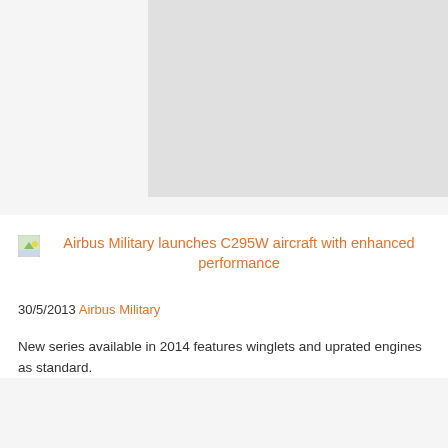[Figure (photo): Gray placeholder image box representing an aircraft photo]
Airbus Military launches C295W aircraft with enhanced performance
30/5/2013 Airbus Military
New series available in 2014 features winglets and uprated engines as standard.